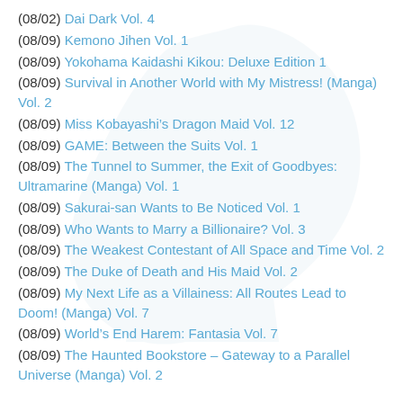(08/02) Dai Dark Vol. 4
(08/09) Kemono Jihen Vol. 1
(08/09) Yokohama Kaidashi Kikou: Deluxe Edition 1
(08/09) Survival in Another World with My Mistress! (Manga) Vol. 2
(08/09) Miss Kobayashi’s Dragon Maid Vol. 12
(08/09) GAME: Between the Suits Vol. 1
(08/09) The Tunnel to Summer, the Exit of Goodbyes: Ultramarine (Manga) Vol. 1
(08/09) Sakurai-san Wants to Be Noticed Vol. 1
(08/09) Who Wants to Marry a Billionaire? Vol. 3
(08/09) The Weakest Contestant of All Space and Time Vol. 2
(08/09) The Duke of Death and His Maid Vol. 2
(08/09) My Next Life as a Villainess: All Routes Lead to Doom! (Manga) Vol. 7
(08/09) World’s End Harem: Fantasia Vol. 7
(08/09) The Haunted Bookstore – Gateway to a Parallel Universe (Manga) Vol. 2